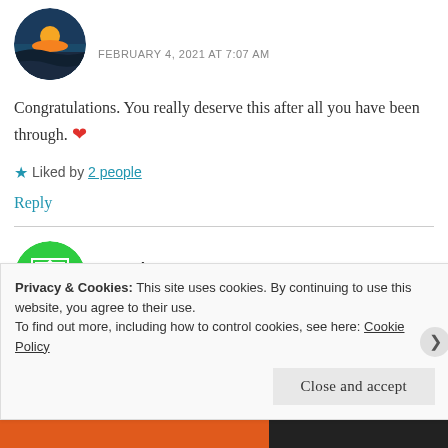[Figure (photo): Circular avatar showing a sunset over water]
FEBRUARY 4, 2021 AT 7:07 AM
Congratulations. You really deserve this after all you have been through. ❤
★ Liked by 2 people
Reply
[Figure (logo): Circular green avatar with geometric pattern for user 7monica7]
7monica7
FEBRUARY 4, 2021 AT 7:52 AM
Privacy & Cookies: This site uses cookies. By continuing to use this website, you agree to their use.
To find out more, including how to control cookies, see here: Cookie Policy
Close and accept